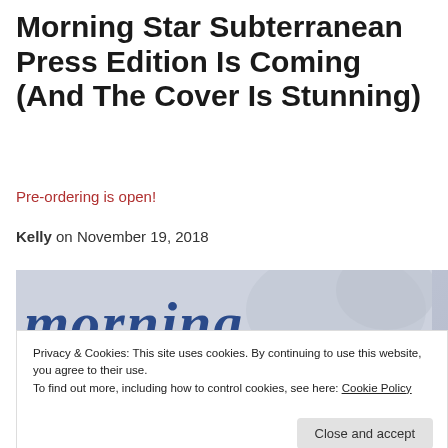Morning Star Subterranean Press Edition Is Coming (And The Cover Is Stunning)
Pre-ordering is open!
Kelly on November 19, 2018
[Figure (photo): Partial header image showing 'morning' text in blue italic font on a light gray/marble background]
Privacy & Cookies: This site uses cookies. By continuing to use this website, you agree to their use.
To find out more, including how to control cookies, see here: Cookie Policy
Close and accept